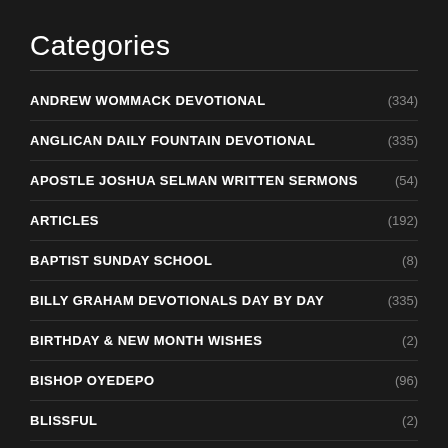Categories
ANDREW WOMMACK DEVOTIONAL (334)
ANGLICAN DAILY FOUNTAIN DEVOTIONAL (335)
APOSTLE JOSHUA SELMAN WRITTEN SERMONS (54)
ARTICLES (192)
BAPTIST SUNDAY SCHOOL (8)
BILLY GRAHAM DEVOTIONALS DAY BY DAY (335)
BIRTHDAY & NEW MONTH WISHES (2)
BISHOP OYEDEPO (96)
BLISSFUL (2)